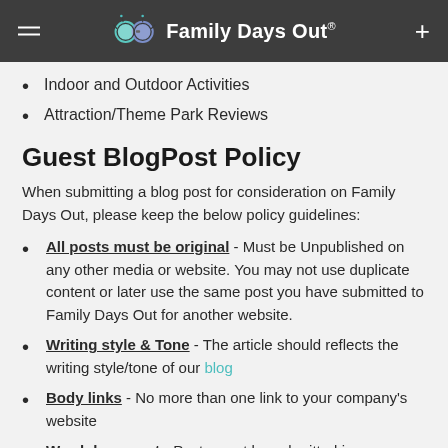Family Days Out®
Indoor and Outdoor Activities
Attraction/Theme Park Reviews
Guest BlogPost Policy
When submitting a blog post for consideration on Family Days Out, please keep the below policy guidelines:
All posts must be original - Must be Unpublished on any other media or website. You may not use duplicate content or later use the same post you have submitted to Family Days Out for another website.
Writing style & Tone - The article should reflects the writing style/tone of our blog
Body links - No more than one link to your company's website
Word document - Posts must be submitted in a